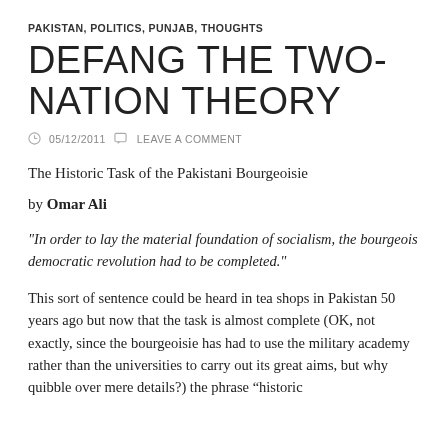PAKISTAN, POLITICS, PUNJAB, THOUGHTS
DEFANG THE TWO-NATION THEORY
05/12/2011   LEAVE A COMMENT
The Historic Task of the Pakistani Bourgeoisie
by Omar Ali
“In order to lay the material foundation of socialism, the bourgeois democratic revolution had to be completed.”
This sort of sentence could be heard in tea shops in Pakistan 50 years ago but now that the task is almost complete (OK, not exactly, since the bourgeoisie has had to use the military academy rather than the universities to carry out its great aims, but why quibble over mere details?) the phrase “historic